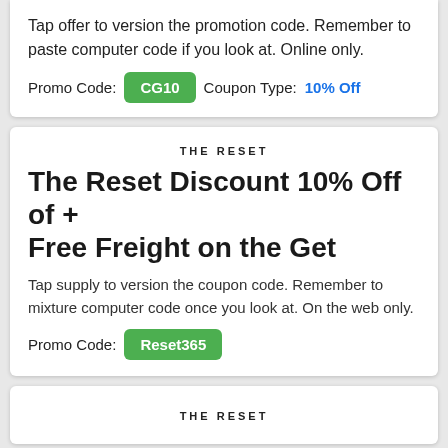Tap offer to version the promotion code. Remember to paste computer code if you look at. Online only.
Promo Code: CG10   Coupon Type: 10% Off
THE RESET
The Reset Discount 10% Off of + Free Freight on the Get
Tap supply to version the coupon code. Remember to mixture computer code once you look at. On the web only.
Promo Code: Reset365
THE RESET